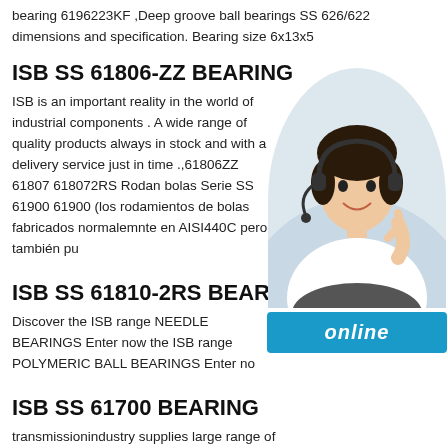bearing 6196223KF ,Deep groove ball bearings SS 626/622 dimensions and specification. Bearing size 6x13x5
ISB SS 61806-ZZ BEARING
ISB is an important reality in the world of industrial components . A wide range of quality products always in stock and with a delivery service just in time .,61806ZZ 61807 618072RS Rodan bolas Serie SS 61900 61900 (los rodamientos de bolas fabricados normalemnte en AISI440C pero también pu
ISB SS 61810-2RS BEARING
Discover the ISB range NEEDLE BEARINGS Enter now the ISB range POLYMERIC BALL BEARINGS Enter no
ISB SS 61700 BEARING
transmissionindustry supplies large range of ball bearing bearings Radial ball bearing Thin radial ball bearings Th 61700: description:,Deep groove ball bearings single ro steel: Product by the steel plant.Explorer series bearing of SKF W 61700 bearings are better than any
[Figure (photo): Customer service representative woman with headset, smiling, in circular portrait frame, with blue 'online' button below]
ISB SS 61913-ZZ BEARING
ISB SS 61911 BearingsSS 61911 ISB bearing types. 55x80x13. add to cart. ISB SS 619112RS ,Easily share your publications and get them in front of Issuu's millions of monthly readers. Title: ISB®